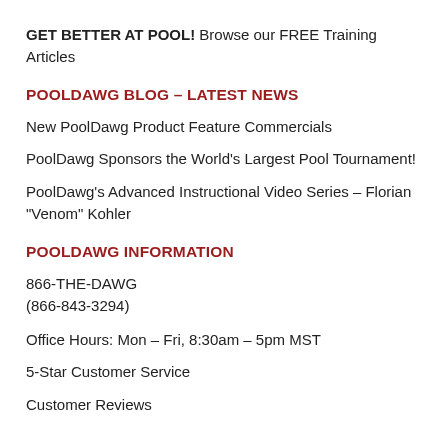GET BETTER AT POOL! Browse our FREE Training Articles
POOLDAWG BLOG – LATEST NEWS
New PoolDawg Product Feature Commercials
PoolDawg Sponsors the World's Largest Pool Tournament!
PoolDawg's Advanced Instructional Video Series – Florian "Venom" Kohler
POOLDAWG INFORMATION
866-THE-DAWG
(866-843-3294)
Office Hours: Mon – Fri, 8:30am – 5pm MST
5-Star Customer Service
Customer Reviews